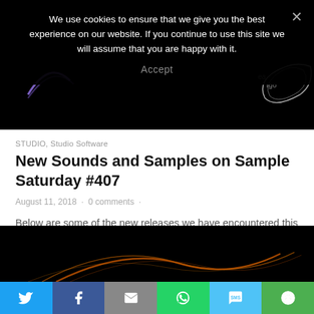[Figure (screenshot): Dark/black header image with partial logo elements visible (purple swoosh left, white graphic right)]
We use cookies to ensure that we give you the best experience on our website. If you continue to use this site we will assume that you are happy with it.
Accept
STUDIO, Studio Software
New Sounds and Samples on Sample Saturday #407
August 11, 2018 · 0 comments ·
Below are some of the new releases we have encountered this week on the Loops and Samples front. Just like
[Figure (photo): Dark black image with orange/amber light streak curves visible at bottom]
[Figure (infographic): Social share bar with Twitter, Facebook, Email, WhatsApp, SMS, and More buttons]